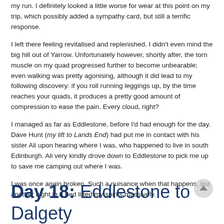my run. I definitely looked a little worse for wear at this point on my trip, which possibly added a sympathy card, but still a terrific response.
I left there feeling revitalised and replenished. I didn't even mind the big hill out of Yarrow. Unfortunately however, shortly after, the torn muscle on my quad progressed further to become unbearable; even walking was pretty agonising, although it did lead to my following discovery: if you roll running leggings up, by the time reaches your quads, it produces a pretty good amount of compression to ease the pain. Every cloud, right?
I managed as far as Eddlestone, before I'd had enough for the day. Dave Hunt (my lift to Lands End) had put me in contact with his sister Ali upon hearing where I was, who happened to live in south Edinburgh. Ali very kindly drove down to Eddlestone to pick me up to save me camping out where I was.
I was once again broken. Such a nuisance when that happens, but another night in a bed lifted my spirits massively.
Day 18: Eddlestone to Dalgety